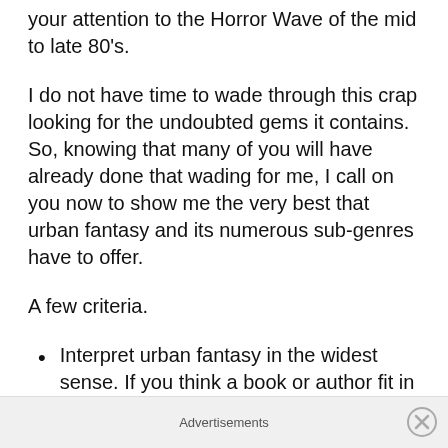your attention to the Horror Wave of the mid to late 80's.
I do not have time to wade through this crap looking for the undoubted gems it contains. So, knowing that many of you will have already done that wading for me, I call on you now to show me the very best that urban fantasy and its numerous sub-genres have to offer.
A few criteria.
Interpret urban fantasy in the widest sense. If you think a book or author fit in the genre, tell me. I'll make a judgement call about whether I agree once nominations are in
Advertisements